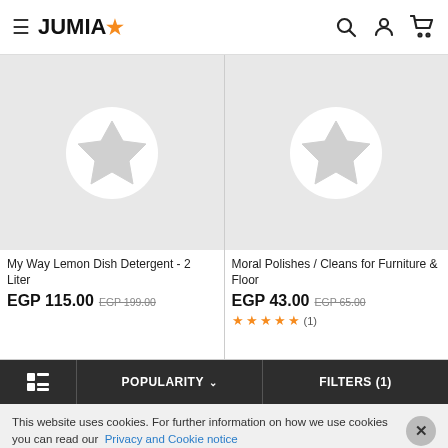JUMIA
[Figure (screenshot): Product card image placeholder with Jumia star logo for My Way Lemon Dish Detergent - 2 Liter]
My Way Lemon Dish Detergent - 2 Liter
EGP 115.00 EGP 199.00
[Figure (screenshot): Product card image placeholder with Jumia star logo for Moral Polishes / Cleans for Furniture & Floor]
Moral Polishes / Cleans for Furniture & Floor
EGP 43.00 EGP 65.00
★★★★★ (1)
POPULARITY ∨
FILTERS (1)
This website uses cookies. For further information on how we use cookies you can read our Privacy and Cookie notice